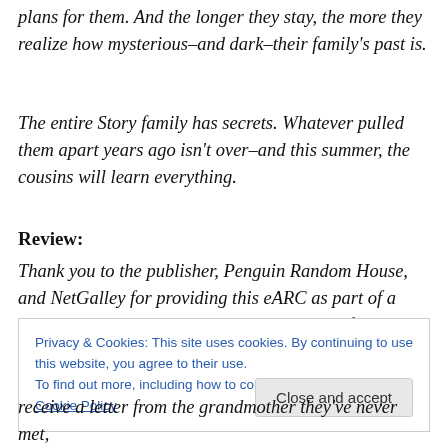plans for them. And the longer they stay, the more they realize how mysterious–and dark–their family's past is.
The entire Story family has secrets. Whatever pulled them apart years ago isn't over–and this summer, the cousins will learn everything.
Review:
Thank you to the publisher, Penguin Random House, and NetGalley for providing this eARC as part of a blog tour with The Write Reads in exchange for an honest review.
Privacy & Cookies: This site uses cookies. By continuing to use this website, you agree to their use.
To find out more, including how to control cookies, see here: Cookie Policy
receive a letter from the grandmother they've never met,